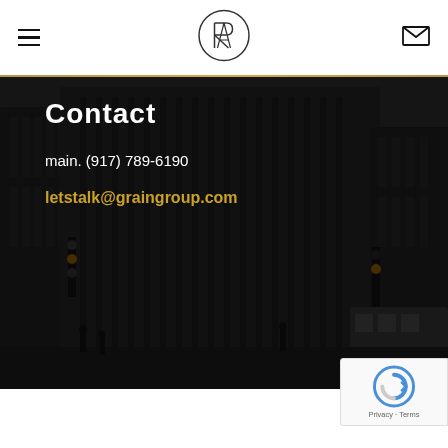Navigation bar with hamburger menu, GRAIN Group logo, and mail icon
[Figure (photo): Dark/monochrome city street scene with tall commercial buildings, traffic lights, a bus, and pedestrians. Dark overlay applied over the photo.]
Contact
main. (917) 789-6190
letstalk@graingroup.com